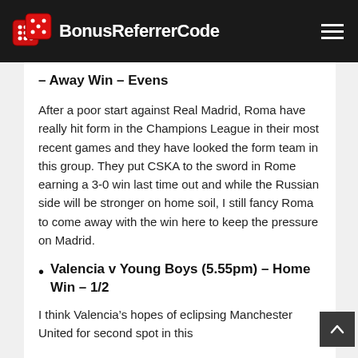BonusReferrerCode
– Away Win – Evens
After a poor start against Real Madrid, Roma have really hit form in the Champions League in their most recent games and they have looked the form team in this group. They put CSKA to the sword in Rome earning a 3-0 win last time out and while the Russian side will be stronger on home soil, I still fancy Roma to come away with the win here to keep the pressure on Madrid.
Valencia v Young Boys (5.55pm) – Home Win – 1/2
I think Valencia's hopes of eclipsing Manchester United for second spot in this